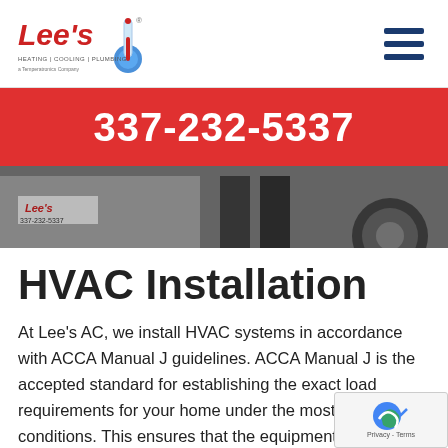[Figure (logo): Lee's AC logo with thermometer graphic, text: HEATING | COOLING | PLUMBING, a Temperatronics Company]
[Figure (other): Hamburger menu icon with three horizontal dark blue lines]
337-232-5337
[Figure (photo): Photo strip showing Lee's company van with workers standing nearby, partial view of tire, company name and phone number visible on van]
HVAC Installation
At Lee's AC, we install HVAC systems in accordance with ACCA Manual J guidelines. ACCA Manual J is the accepted standard for establishing the exact load requirements for your home under the most extreme conditions. This ensures that the equipment you purchase has the precise capacity